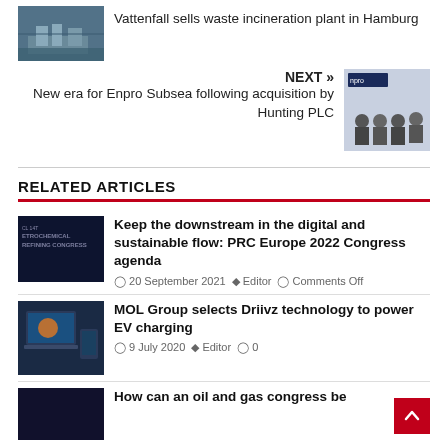[Figure (photo): Aerial view of a waste incineration plant in Hamburg]
Vattenfall sells waste incineration plant in Hamburg
NEXT »
New era for Enpro Subsea following acquisition by Hunting PLC
[Figure (photo): Group of businessmen in front of Enpro office]
RELATED ARTICLES
[Figure (photo): Petrochemical Refining Congress banner]
Keep the downstream in the digital and sustainable flow: PRC Europe 2022 Congress agenda
20 September 2021  Editor  Comments Off
[Figure (photo): Laptop and phone showing MOL Group Driivz EV charging technology]
MOL Group selects Driivz technology to power EV charging
9 July 2020  Editor  0
[Figure (photo): Oil and gas congress thumbnail]
How can an oil and gas congress be